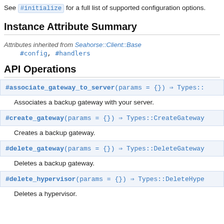See #initialize for a full list of supported configuration options.
Instance Attribute Summary
Attributes inherited from Seahorse::Client::Base
  #config, #handlers
API Operations
#associate_gateway_to_server(params = {}) ⇒ Types::... Associates a backup gateway with your server.
#create_gateway(params = {}) ⇒ Types::CreateGateway... Creates a backup gateway.
#delete_gateway(params = {}) ⇒ Types::DeleteGateway... Deletes a backup gateway.
#delete_hypervisor(params = {}) ⇒ Types::DeleteHype... Deletes a hypervisor.